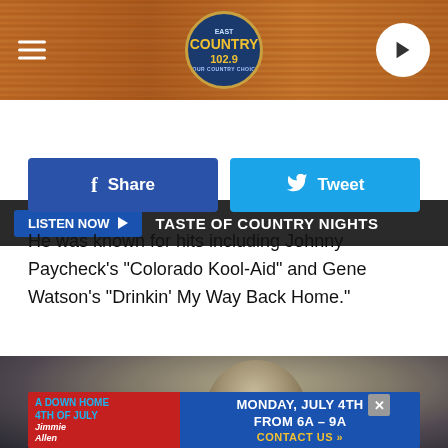[Figure (screenshot): Website header bar with wood-texture background, hamburger menu icon on left, East Country 102.9 radio station logo in center, play button on right]
LISTEN NOW ▶   TASTE OF COUNTRY NIGHTS
[Figure (screenshot): Facebook Share button (blue) and Twitter Tweet button (light blue) social sharing row]
He was known for hits including Johnny Paycheck's "Colorado Kool-Aid" and Gene Watson's "Drinkin' My Way Back Home."
[Figure (photo): Black and white or low-color video still of a man with light hair singing or speaking into a microphone]
[Figure (screenshot): Advertisement banner: red left section reading 'A DOWN HOME 4TH OF JULY' with Jimmie Allen, blue right section reading 'MONDAY, JULY 4TH FROM 6A - 9A CONTACT US »']